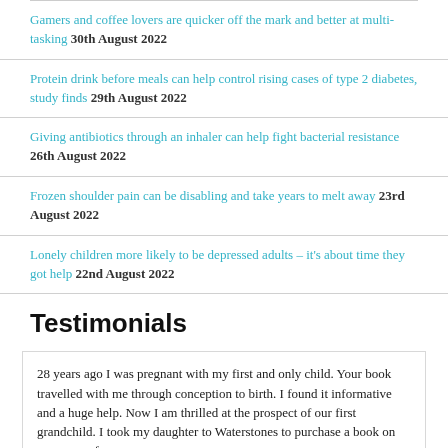Gamers and coffee lovers are quicker off the mark and better at multi-tasking 30th August 2022
Protein drink before meals can help control rising cases of type 2 diabetes, study finds 29th August 2022
Giving antibiotics through an inhaler can help fight bacterial resistance 26th August 2022
Frozen shoulder pain can be disabling and take years to melt away 23rd August 2022
Lonely children more likely to be depressed adults – it's about time they got help 22nd August 2022
Testimonials
28 years ago I was pregnant with my first and only child. Your book travelled with me through conception to birth. I found it informative and a huge help. Now I am thrilled at the prospect of our first grandchild. I took my daughter to Waterstones to purchase a book on pregnancy from a